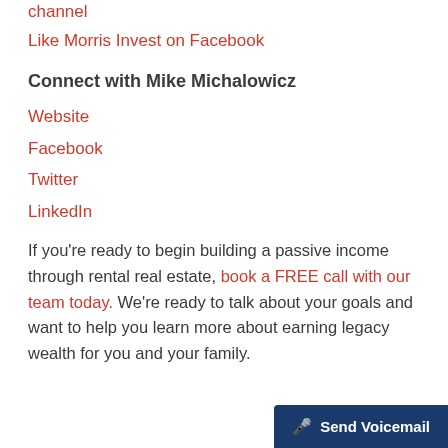channel
Like Morris Invest on Facebook
Connect with Mike Michalowicz
Website
Facebook
Twitter
LinkedIn
If you're ready to begin building a passive income through rental real estate, book a FREE call with our team today. We're ready to talk about your goals and want to help you learn more about earning legacy wealth for you and your family.